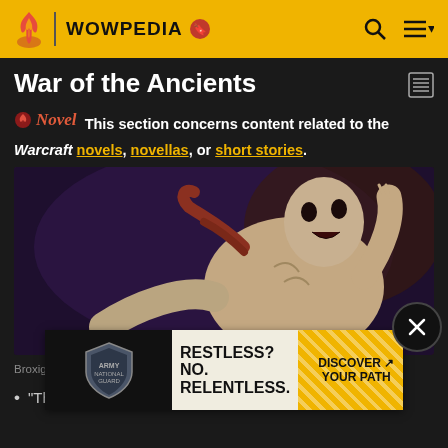WOWPEDIA
War of the Ancients
Novel  This section concerns content related to the Warcraft novels, novellas, or short stories.
[Figure (illustration): Fantasy illustration of a large demonic creature on a dark purple background, used on the cover of The Demon Soul]
[Figure (infographic): Army National Guard advertisement: RESTLESS? NO. RELENTLESS. DISCOVER YOUR PATH]
Broxigar on the cover of The Demon Soul
"That one misunderstands much... and